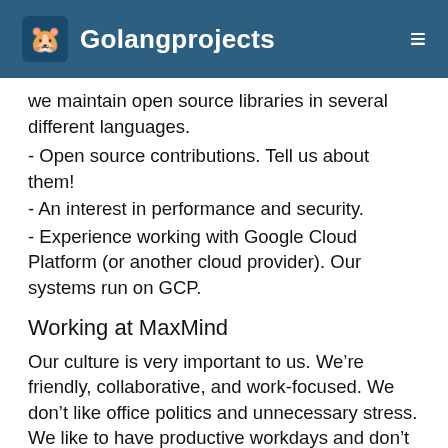Golangprojects
we maintain open source libraries in several different languages.
- Open source contributions. Tell us about them!
- An interest in performance and security.
- Experience working with Google Cloud Platform (or another cloud provider). Our systems run on GCP.
Working at MaxMind
Our culture is very important to us. We’re friendly, collaborative, and work-focused. We don’t like office politics and unnecessary stress. We like to have productive workdays and don’t like work to chase us when we’re done for the day. We maintain a set of core, overlapping hours, but are flexible